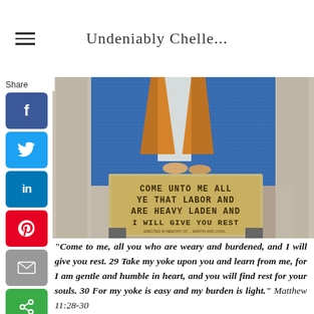Undeniably Chelle...
[Figure (photo): Mosaic artwork on a church wall showing feet of a figure and the text 'COME UNTO ME ALL YE THAT LABOR AND ARE HEAVY LADEN AND I WILL GIVE YOU REST' inscribed on a stone plaque, with blue and orange tile background and stone columns flanking.]
“Come to me, all you who are weary and burdened, and I will give you rest. 29 Take my yoke upon you and learn from me, for I am gentle and humble in heart, and you will find rest for your souls. 30 For my yoke is easy and my burden is light.” Matthew 11:28-30